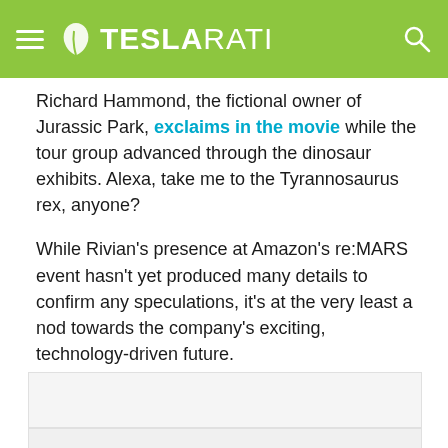TESLARATI
Richard Hammond, the fictional owner of Jurassic Park, exclaims in the movie while the tour group advanced through the dinosaur exhibits. Alexa, take me to the Tyrannosaurus rex, anyone?
While Rivian's presence at Amazon's re:MARS event hasn't yet produced many details to confirm any speculations, it's at the very least a nod towards the company's exciting, technology-driven future.
[Figure (other): Advertisement placeholder box 1]
[Figure (other): Advertisement placeholder box 2]